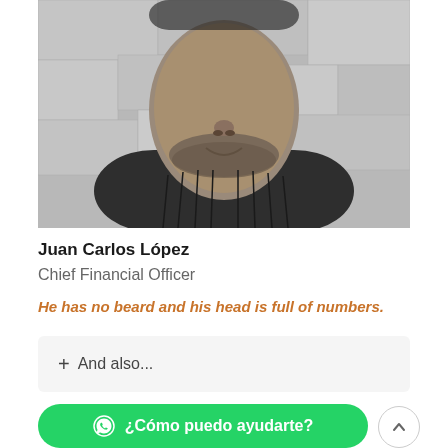[Figure (photo): Black and white close-up photo of a middle-aged man smiling, wearing a cable-knit sweater and white shirt collar, with a stone wall background.]
Juan Carlos López
Chief Financial Officer
He has no beard and his head is full of numbers.
+ And also...
¿Cómo puedo ayudarte?